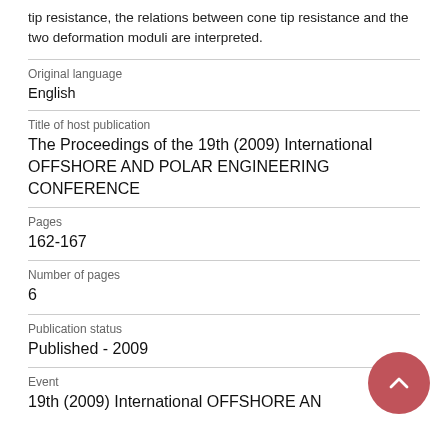tip resistance, the relations between cone tip resistance and the two deformation moduli are interpreted.
| Original language | English |
| Title of host publication | The Proceedings of the 19th (2009) International OFFSHORE AND POLAR ENGINEERING CONFERENCE |
| Pages | 162-167 |
| Number of pages | 6 |
| Publication status | Published - 2009 |
| Event | 19th (2009) International OFFSHORE AN |
[Figure (other): Scroll-to-top button: circular dark red/salmon colored button with an upward chevron arrow icon]